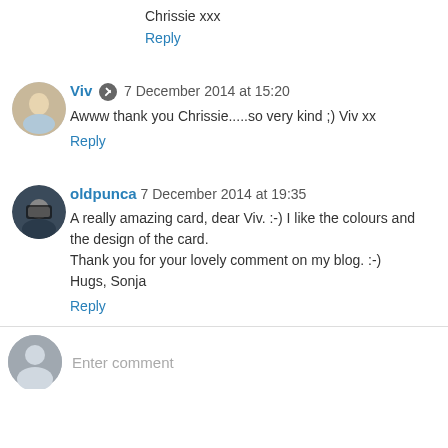Chrissie xxx
Reply
Viv  7 December 2014 at 15:20
Awww thank you Chrissie.....so very kind ;) Viv xx
Reply
oldpunca  7 December 2014 at 19:35
A really amazing card, dear Viv. :-) I like the colours and the design of the card.
Thank you for your lovely comment on my blog. :-)
Hugs, Sonja
Reply
Enter comment